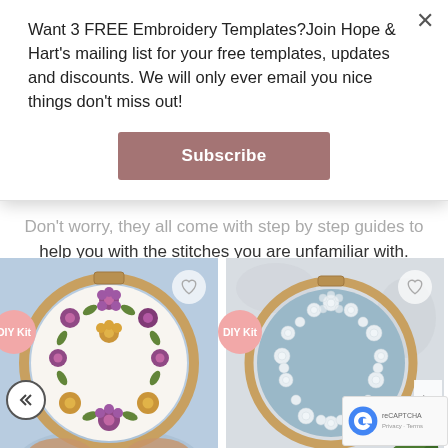Want 3 FREE Embroidery Templates?Join Hope & Hart's mailing list for your free templates, updates and discounts. We will only ever email you nice things don't miss out!
Subscribe
help you with the stitches you are unfamiliar with.
[Figure (photo): Embroidery hoop with floral wreath pattern in purple and yellow/gold flowers on white fabric, held by hands with blue sleeve background. DIY Kit badge in pink. *NEW* label. Title: "Autumn Blooms"]
*NEW*
"Autumn Blooms"
[Figure (photo): Embroidery hoop with white floral wreath on pale blue fabric, photographed on light grey background with green plant leaves. DIY Kit badge in pink. *NEW* label. Title: "Blossoming Blues"]
*NEW*
"Blossoming Blues"